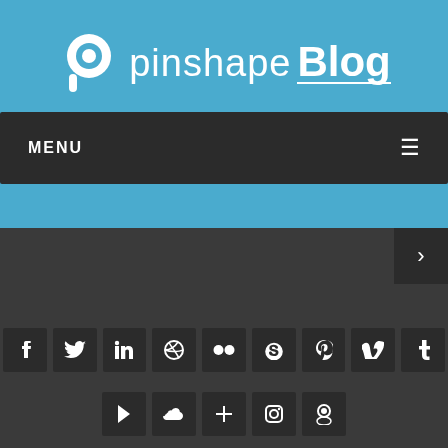[Figure (logo): Pinshape Blog logo on blue background with white circular P icon and text 'pinshape Blog']
MENU
[Figure (infographic): Dark section with right arrow navigation button and two rows of social media icons: Facebook, Twitter, LinkedIn, Dribbble, Flickr, Skype, Pinterest, Vimeo, Tumblr in row 1; Play, Soundcloud, Plus, Instagram, Periscope in row 2]